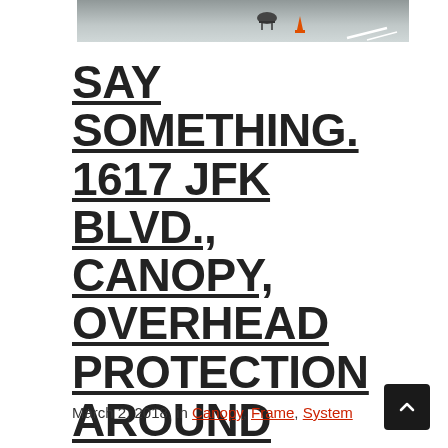[Figure (photo): Street photo showing a cyclist and traffic cone on a road, taken from above]
SAY SOMETHING. 1617 JFK BLVD., CANOPY, OVERHEAD PROTECTION AROUND ENTIRE BLOCK!
March 2, 2018, in Canopy, Frame, System